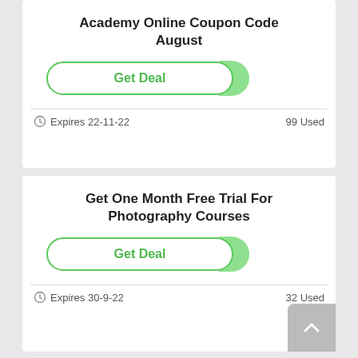Academy Online Coupon Code August
[Figure (other): Get Deal button with green pill shape and green tail]
Expires 22-11-22  99Used
Get One Month Free Trial For Photography Courses
[Figure (other): Get Deal button with green pill shape and green tail]
Expires 30-9-22  32Used
CDP Accredited Online Sports And Exercise Nutrition